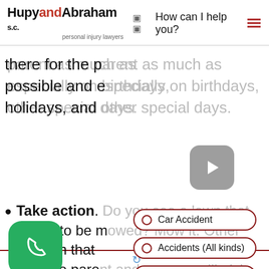HupyandAbraham s.c. personal injury lawyers | How can I help you?
there for the parent as much as possible and especially on birthdays, holidays, and other special days.
[Figure (screenshot): Gray play button icon (rounded square with right-pointing triangle)]
Take action. Do you see a lawn that needs to be mowed? Mow it. Other children that need practice? Text the parent and say you will pick the children up. Is there an empty pantry? Show up with bags of groceries.
[Figure (screenshot): Green phone call button (rounded square with phone icon)]
[Figure (infographic): Dropdown menu with three pill-shaped options: Car Accident, Accidents (All kinds), Police Abuse]